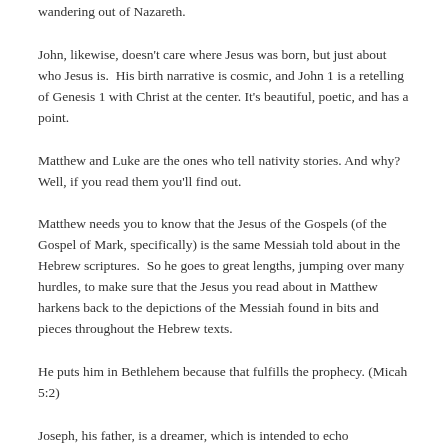wandering out of Nazareth.
John, likewise, doesn't care where Jesus was born, but just about who Jesus is.  His birth narrative is cosmic, and John 1 is a retelling of Genesis 1 with Christ at the center. It's beautiful, poetic, and has a point.
Matthew and Luke are the ones who tell nativity stories. And why?  Well, if you read them you'll find out.
Matthew needs you to know that the Jesus of the Gospels (of the Gospel of Mark, specifically) is the same Messiah told about in the Hebrew scriptures.  So he goes to great lengths, jumping over many hurdles, to make sure that the Jesus you read about in Matthew harkens back to the depictions of the Messiah found in bits and pieces throughout the Hebrew texts.
He puts him in Bethlehem because that fulfills the prophecy. (Micah 5:2)
Joseph, his father, is a dreamer, which is intended to echo